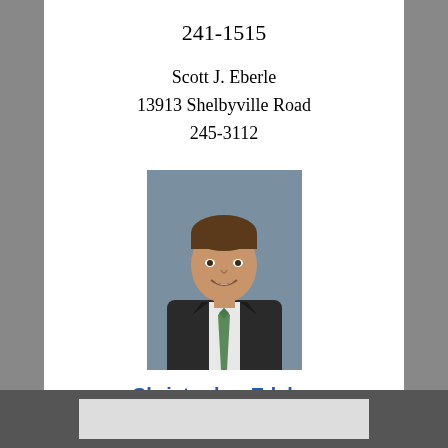241-1515
Scott J. Eberle
13913 Shelbyville Road
245-3112
[Figure (photo): Professional headshot of a man in a dark suit with a green tie, smiling, against a gray background.]
Christopher Edelen
Edelen Orthodonics